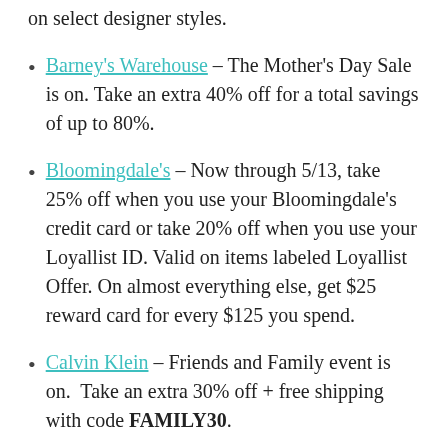on select designer styles.
Barney's Warehouse – The Mother's Day Sale is on. Take an extra 40% off for a total savings of up to 80%.
Bloomingdale's – Now through 5/13, take 25% off when you use your Bloomingdale's credit card or take 20% off when you use your Loyallist ID. Valid on items labeled Loyallist Offer. On almost everything else, get $25 reward card for every $125 you spend.
Calvin Klein – Friends and Family event is on. Take an extra 30% off + free shipping with code FAMILY30.
Coach – Enjoy 30% off online and in stores with code MOM18. Ends 5/13. Check out some of their cute embellished sneakers here.
Gap – Up to 50% off almost everything plus extra 20% (online only) with code YOUMAY. Also, earn $20 in